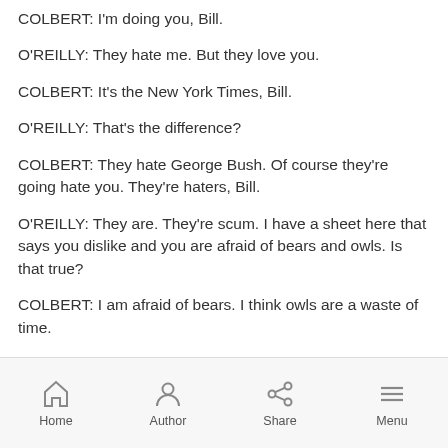COLBERT: I'm doing you, Bill.
O'REILLY: They hate me. But they love you.
COLBERT: It's the New York Times, Bill.
O'REILLY: That's the difference?
COLBERT: They hate George Bush. Of course they're going hate you. They're haters, Bill.
O'REILLY: They are. They're scum. I have a sheet here that says you dislike and you are afraid of bears and owls. Is that true?
COLBERT: I am afraid of bears. I think owls are a waste of time.
O'REILLY: OK. You don't think about owls?
Home  Author  Share  Menu